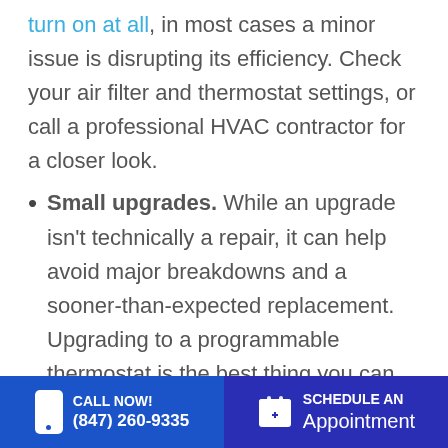turn on at all, in most cases a minor issue is disrupting its efficiency. Check your air filter and thermostat settings, or call a professional HVAC contractor for a closer look.
Small upgrades. While an upgrade isn't technically a repair, it can help avoid major breakdowns and a sooner-than-expected replacement. Upgrading to a programmable thermostat is the best thing you can do for your HVAC system, your home
CALL NOW! (847) 260-9335   SCHEDULE AN Appointment